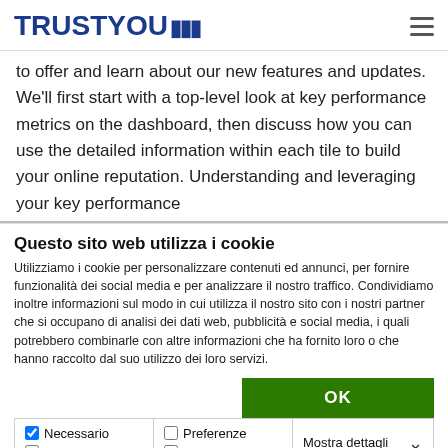TRUSTYOU
to offer and learn about our new features and updates. We'll first start with a top-level look at key performance metrics on the dashboard, then discuss how you can use the detailed information within each tile to build your online reputation. Understanding and leveraging your key performance
Questo sito web utilizza i cookie
Utilizziamo i cookie per personalizzare contenuti ed annunci, per fornire funzionalità dei social media e per analizzare il nostro traffico. Condividiamo inoltre informazioni sul modo in cui utilizza il nostro sito con i nostri partner che si occupano di analisi dei dati web, pubblicità e social media, i quali potrebbero combinarle con altre informazioni che ha fornito loro o che hanno raccolto dal suo utilizzo dei loro servizi.
OK
| Necessario | Preferenze | Mostra dettagli |
| Statistiche | Marketing |  |